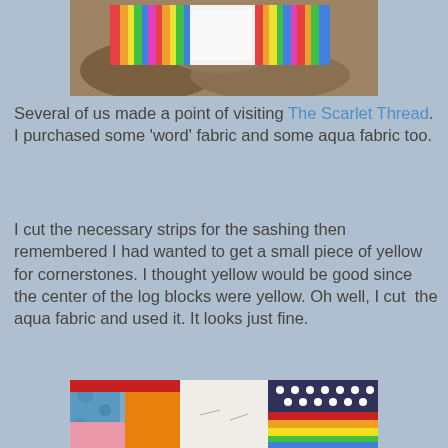[Figure (photo): A colorful striped quilt laid out on rocky/gravelly ground outdoors, viewed from above at an angle.]
Several of us made a point of visiting The Scarlet Thread. I purchased some 'word' fabric and some aqua fabric too.
I cut the necessary strips for the sashing then remembered I had wanted to get a small piece of yellow for cornerstones. I thought yellow would be good since the center of the log blocks were yellow. Oh well, I cut  the aqua fabric and used it. It looks just fine.
[Figure (photo): Close-up of a quilt in progress showing colorful fabric blocks including dark navy with white dots, striped sections in rainbow colors, red sashing strips, pink fabric, and a white center block.]